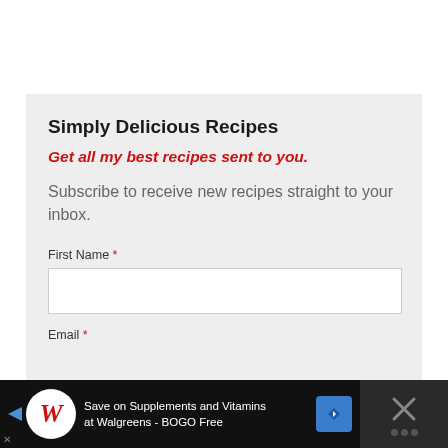[Figure (other): Top green border box (partial)]
Simply Delicious Recipes
Get all my best recipes sent to you.
Subscribe to receive new recipes straight to your inbox.
First Name *
[Figure (other): First Name input field (empty white box)]
Email *
[Figure (other): Advertisement bar at bottom: Walgreens Save on Supplements and Vitamins at Walgreens - BOGO Free, with close button]